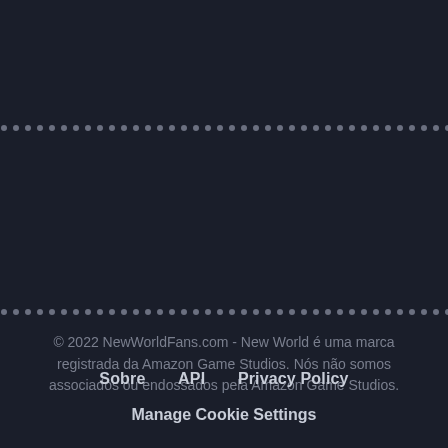© 2022 NewWorldFans.com - New World é uma marca registrada da Amazon Game Studios. Nós não somos associados ou endossados pela Amazon Game Studios.
Sobre   API   Privacy Policy
Manage Cookie Settings